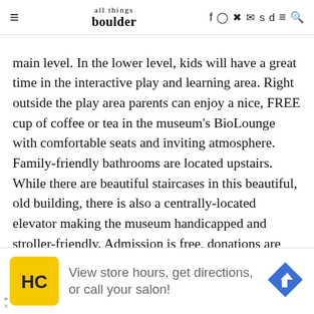all things boulder (navigation bar with social icons)
main level. In the lower level, kids will have a great time in the interactive play and learning area. Right outside the play area parents can enjoy a nice, FREE cup of coffee or tea in the museum's BioLounge with comfortable seats and inviting atmosphere. Family-friendly bathrooms are located upstairs. While there are beautiful staircases in this beautiful, old building, there is also a centrally-located elevator making the museum handicapped and stroller-friendly. Admission is free, donations are accepted. The gift shop offers a fun array of science-inspired items. Paid parking is located South of the museum.
Museum of Natural History is located at Henderson
[Figure (other): Advertisement banner: HC logo (yellow square with HC text), 'View store hours, get directions, or call your salon!', blue diamond navigation arrow icon]